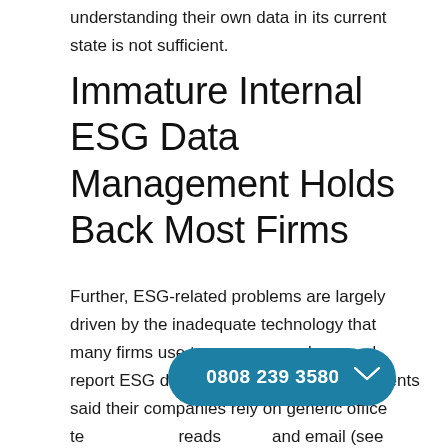understanding their own data in its current state is not sufficient.
Immature Internal ESG Data Management Holds Back Most Firms
Further, ESG-related problems are largely driven by the inadequate technology that many firms use to manage, analyze, and report ESG data. Seven out of 10 respondents said their companies rely on generic office technology, spreadsheets, and email (see Figure on data collection management, and analysis practices severely limit a company’s ability